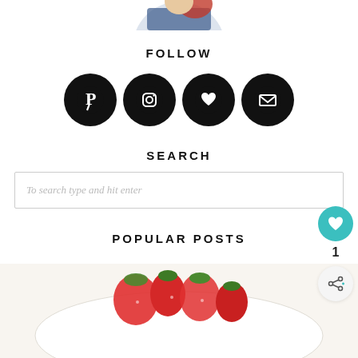[Figure (photo): Partial profile/avatar photo at top, cropped circle showing person in blue and red clothing]
FOLLOW
[Figure (infographic): Four black circular social media icons: Pinterest, Instagram, Heart (Bloglovin), Envelope (Email)]
SEARCH
To search type and hit enter
POPULAR POSTS
[Figure (photo): Partial photo of a bowl with strawberries and other food, at bottom of page]
[Figure (infographic): Floating teal heart/love button with count 1 and share icon]